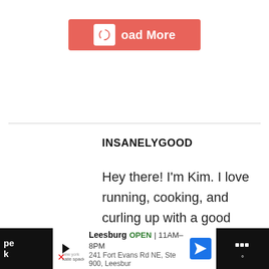[Figure (other): A coral/salmon-colored 'Load More' button with a white rounded square icon showing a loading spinner on the left, and white bold text 'oad More' (partially visible) on the right.]
INSANELYGOOD
Hey there! I'm Kim. I love running, cooking, and curling up with a good book! I share recipes for
[Figure (other): Advertisement bar at the bottom: Kate Spade Leesburg store ad showing 'Leesburg OPEN 11AM-8PM 241 Fort Evans Rd NE, Ste 900, Leesbur' with navigation arrow icon. Dark panels on left and right sides.]